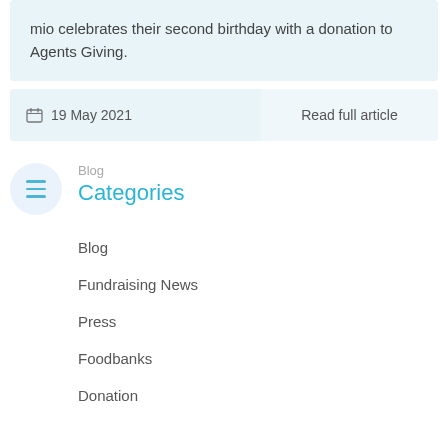mio celebrates their second birthday with a donation to Agents Giving.
19 May 2021
Read full article
Blog Categories
Blog
Fundraising News
Press
Foodbanks
Donation